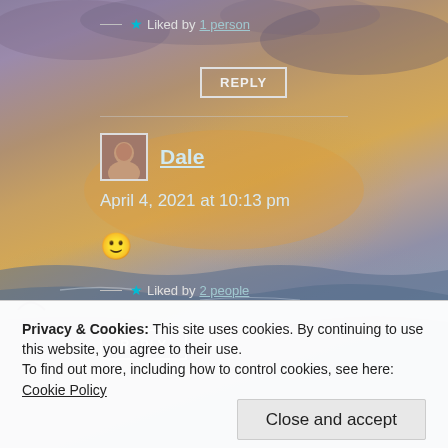★ Liked by 1 person
REPLY
Dale
April 4, 2021 at 10:13 pm
[Figure (illustration): Sunset over ocean with clouds, beach scene with bird silhouette]
🙂
Liked by 2 people
Privacy & Cookies: This site uses cookies. By continuing to use this website, you agree to their use. To find out more, including how to control cookies, see here: Cookie Policy
Close and accept